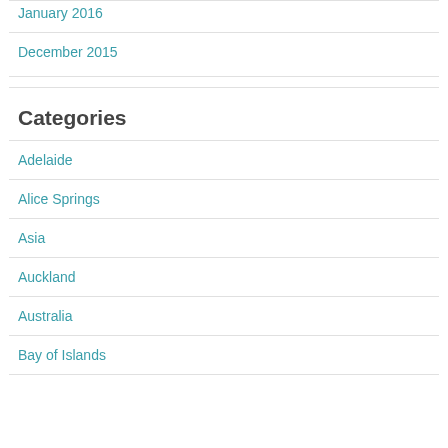January 2016
December 2015
Categories
Adelaide
Alice Springs
Asia
Auckland
Australia
Bay of Islands